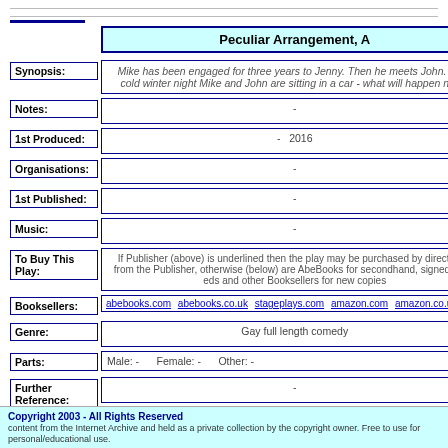Peculiar Arrangement, A
Synopsis: Mike has been engaged for three years to Jenny. Then he meets John. On a cold winter night Mike and John are sitting in a car - what will happen next?
Notes: -
1st Produced: - 2016
Organisations: -
1st Published: -
Music: -
To Buy This Play: If Publisher (above) is underlined then the play may be purchased by direct click from the Publisher, otherwise (below) are AbeBooks for secondhand, signed & 1st eds and other Booksellers for new copies
Booksellers: abebooks.com abebooks.co.uk stageplays.com amazon.com amazon.co.uk an...
Genre: Gay full length comedy
Parts: Male: - Female: - Other: -
Further Reference: -
Top of Page
Copyright 2003 - All Rights Reserved